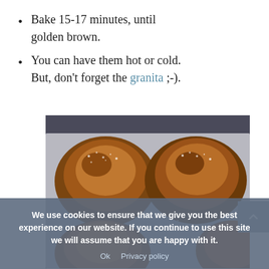Bake 15-17 minutes, until golden brown.
You can have them hot or cold. But, don't forget the granita ;-).
[Figure (photo): Golden brown brioche buns dusted with powdered sugar on parchment paper, viewed from above on a baking tray.]
We use cookies to ensure that we give you the best experience on our website. If you continue to use this site we will assume that you are happy with it.
Ok   Privacy policy